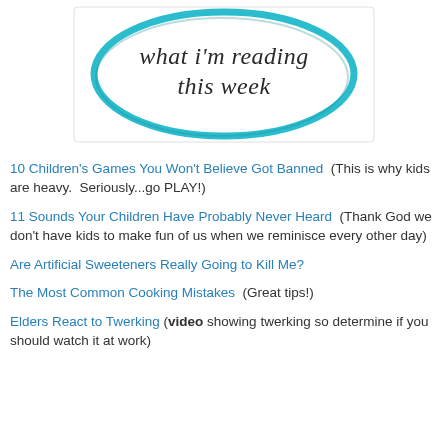[Figure (illustration): An oval badge with a teal/turquoise border on a white background containing the handwritten-style text 'what i'm reading this week' in dark grey lettering.]
10 Children's Games You Won't Believe Got Banned  (This is why kids are heavy.  Seriously...go PLAY!)
11 Sounds Your Children Have Probably Never Heard  (Thank God we don't have kids to make fun of us when we reminisce every other day)
Are Artificial Sweeteners Really Going to Kill Me?
The Most Common Cooking Mistakes  (Great tips!)
Elders React to Twerking (video showing twerking so determine if you should watch it at work)